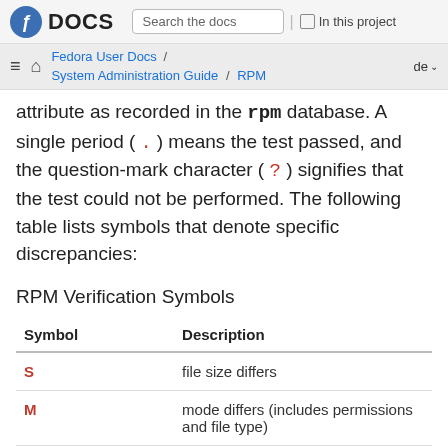Fedora DOCS — Search the docs | In this project
Fedora User Docs / System Administration Guide / RPM — de
attribute as recorded in the RPM database. A single period ( . ) means the test passed, and the question-mark character ( ? ) signifies that the test could not be performed. The following table lists symbols that denote specific discrepancies:
RPM Verification Symbols
| Symbol | Description |
| --- | --- |
| S | file size differs |
| M | mode differs (includes permissions and file type) |